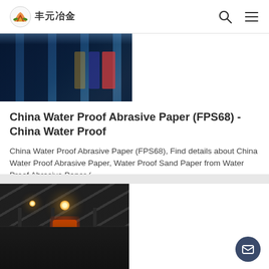丰元冶金
[Figure (photo): Blue industrial barrels/containers stacked in a warehouse]
China Water Proof Abrasive Paper (FPS68) - China Water Proof
China Water Proof Abrasive Paper (FPS68), Find details about China Water Proof Abrasive Paper, Water Proof Sand Paper from Water Proof Abrasive Paper (
[Figure (photo): Interior of a factory/foundry with furnace glowing orange, industrial drums and pillars visible]